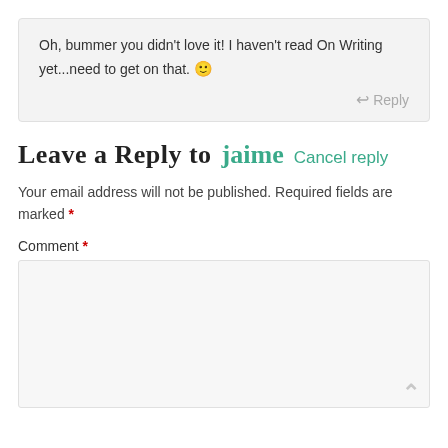Oh, bummer you didn't love it! I haven't read On Writing yet...need to get on that. 🙂
↩ Reply
Leave a Reply to jaime   Cancel reply
Your email address will not be published. Required fields are marked *
Comment *